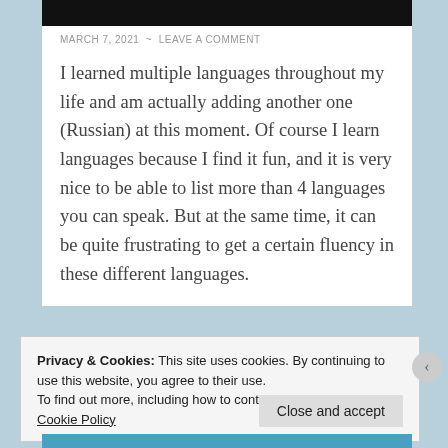[Figure (photo): Dark/black image strip at top of page]
MARCH 7, 2021  ~  LEAVE A COMMENT
I learned multiple languages throughout my life and am actually adding another one (Russian) at this moment. Of course I learn languages because I find it fun, and it is very nice to be able to list more than 4 languages you can speak. But at the same time, it can be quite frustrating to get a certain fluency in these different languages.
Privacy & Cookies: This site uses cookies. By continuing to use this website, you agree to their use.
To find out more, including how to control cookies, see here:
Cookie Policy
Close and accept